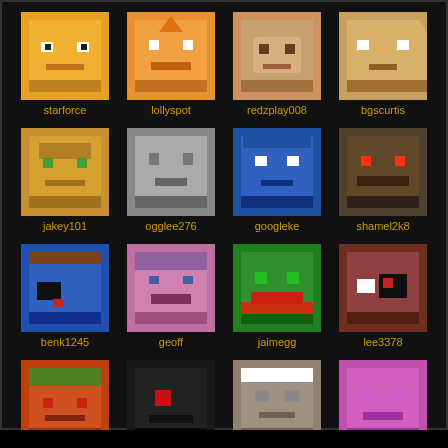[Figure (screenshot): Grid of 16 pixel-art avatar icons (3D cube faces) with usernames below each, arranged in 4 columns and 4 rows. Row 1: starforce, lollyspot, redzplay008, bgscurtis. Row 2: jakey101, ogglee276, googleke, shamel2k8. Row 3: benk1245, geoff, jaimegg, lee3378. Row 4: olle20201, osvaldo, jamie01, jturey14.]